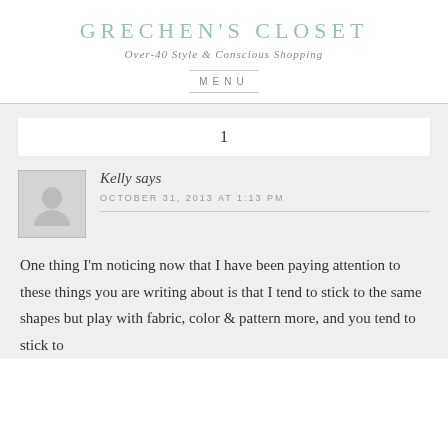GRECHEN'S CLOSET
Over-40 Style & Conscious Shopping
MENU
1
Kelly says
OCTOBER 31, 2013 AT 1:13 PM
One thing I'm noticing now that I have been paying attention to these things you are writing about is that I tend to stick to the same shapes but play with fabric, color & pattern more, and you tend to stick to